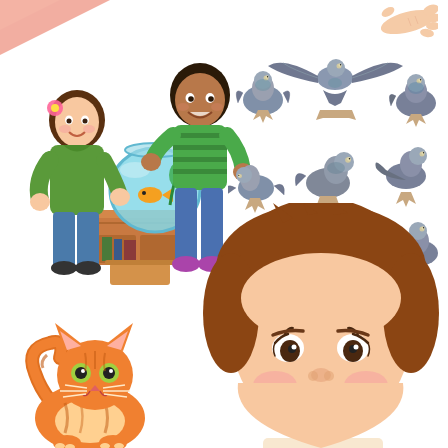[Figure (illustration): Partial pink/salmon colored triangular shape visible at top-left corner of page]
[Figure (illustration): A hand (cartoon style, light skin tone) reaching/pointing, visible at top-right corner]
[Figure (illustration): Two children (a girl with flower in hair wearing green sweater and a boy in green striped shirt and jeans) looking at a round fish bowl on a wooden cabinet with a goldfish inside]
[Figure (illustration): A flock of approximately 9 grey pigeons/doves in various poses - standing, flying, pecking at seeds on the ground]
[Figure (illustration): An orange tabby cat (cartoon style) sitting, looking up, at bottom-left of page]
[Figure (illustration): A smiling young child face (cartoon style) with brown hair, rosy cheeks, and a red-lipped smile, at bottom-right of page]